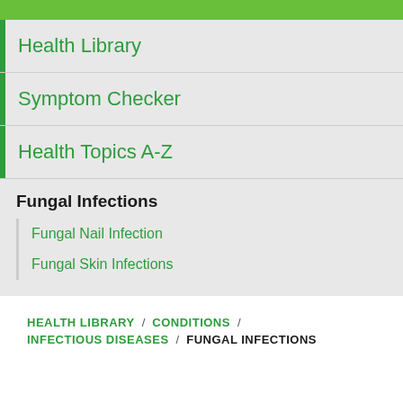Health Library
Symptom Checker
Health Topics A-Z
Fungal Infections
Fungal Nail Infection
Fungal Skin Infections
HEALTH LIBRARY / CONDITIONS / INFECTIOUS DISEASES / FUNGAL INFECTIONS